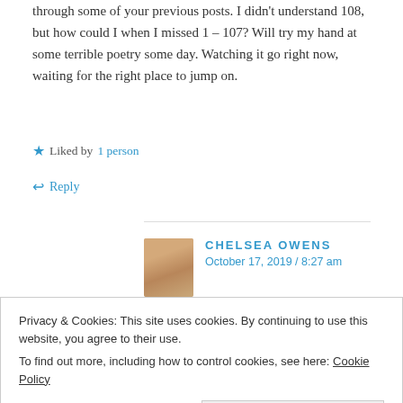through some of your previous posts. I didn't understand 108, but how could I when I missed 1 – 107? Will try my hand at some terrible poetry some day. Watching it go right now, waiting for the right place to jump on.
Liked by 1 person
Reply
CHELSEA OWENS
October 17, 2019 / 8:27 am
Hey; thanks! I haven't read one of yours in a long time...
Privacy & Cookies: This site uses cookies. By continuing to use this website, you agree to their use.
To find out more, including how to control cookies, see here: Cookie Policy
Close and accept
Like